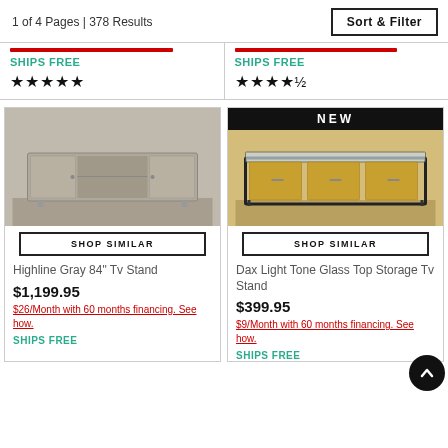1 of 4 Pages | 378 Results
Sort & Filter
SHIPS FREE ★★★★★
SHIPS FREE ★★★★½
[Figure (photo): Gray TV stand with open shelves and cabinet doors - Highline Gray 84" Tv Stand]
SHOP SIMILAR
Highline Gray 84" Tv Stand
$1,199.95
$26/Month with 60 months financing. See how.
SHIPS FREE
[Figure (photo): Gold/wood TV stand with glass top and black metal frame - Dax Light Tone Glass Top Storage Tv Stand. NEW badge shown.]
SHOP SIMILAR
Dax Light Tone Glass Top Storage Tv Stand
$399.95
$9/Month with 60 months financing. See how.
SHIPS FREE